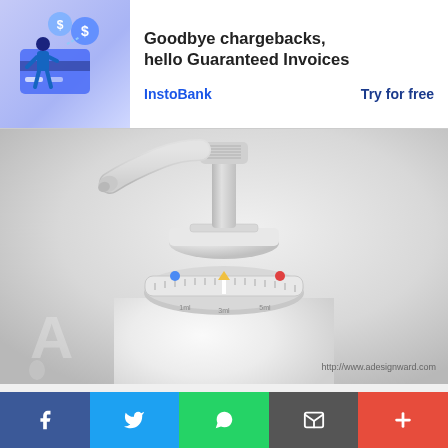[Figure (infographic): Advertisement banner for InstoBank showing illustrated character with credit card and dollar signs. Headline: Goodbye chargebacks, hello Guaranteed Invoices. Links: InstoBank and Try for free.]
Goodbye chargebacks, hello Guaranteed Invoices
InstoBank
Try for free
[Figure (photo): Close-up product photo of a white soap dispenser pump bottle with a dial/dosage indicator on the collar showing measurement markings and colored indicators (blue, yellow, red). Watermark: http://www.adesignward.com]
By Yi Teng Shih, Weisi Zhan & Yushan Rong
[Figure (infographic): Social sharing button bar with Facebook (blue), Twitter (light blue), WhatsApp (green), Email (dark grey), and Plus/More (red) buttons.]